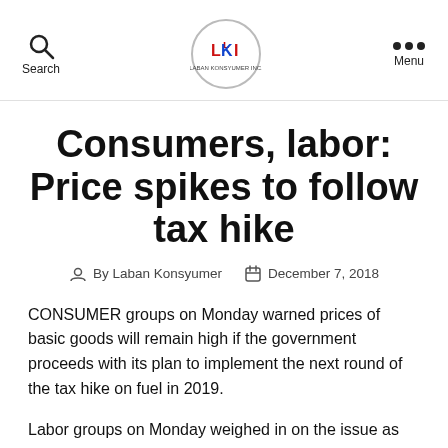Search  [LKI Logo]  Menu
Consumers, labor: Price spikes to follow tax hike
By Laban Konsyumer  December 7, 2018
CONSUMER groups on Monday warned prices of basic goods will remain high if the government proceeds with its plan to implement the next round of the tax hike on fuel in 2019.
Labor groups on Monday weighed in on the issue as